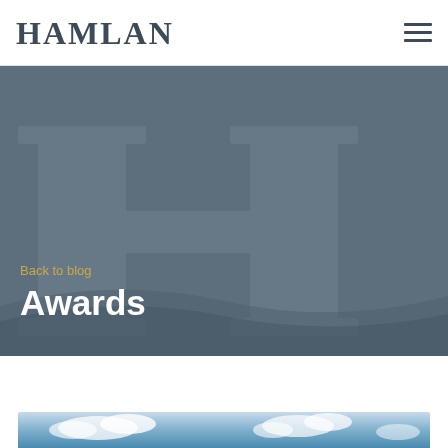HAMLAN
[Figure (illustration): Hero banner with steel blue/grey background featuring a large watermark of the Hamlan logo (H letter with crossbar), with 'Back to blog' text in gold and 'Awards' heading in white bold text]
Back to blog
Awards
[Figure (photo): Bottom strip showing blue sky with white clouds]